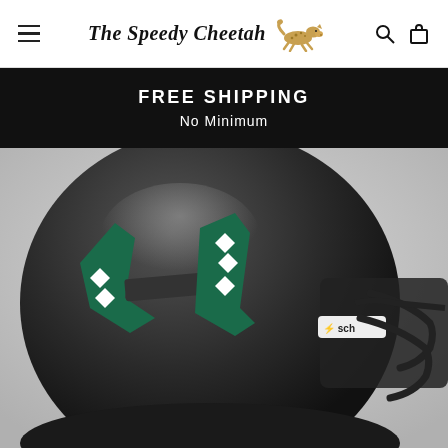The Speedy Cheetah — site navigation header with hamburger menu, logo, search and cart icons
FREE SHIPPING
No Minimum
[Figure (photo): Close-up photograph of a Hawaii Warriors (University of Hawaii) dark grey football helmet with the H logo in teal and white, featuring a white face mask and Schutt brand label, on a light grey background.]